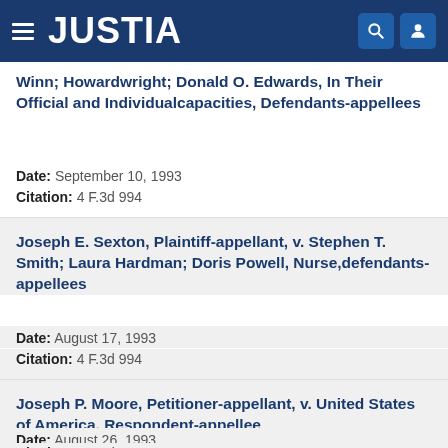JUSTIA
Winn; Howardwright; Donald O. Edwards, In Their Official and Individualcapacities, Defendants-appellees
Date: September 10, 1993
Citation: 4 F.3d 994
Joseph E. Sexton, Plaintiff-appellant, v. Stephen T. Smith; Laura Hardman; Doris Powell, Nurse,defendants-appellees
Date: August 17, 1993
Citation: 4 F.3d 994
Joseph P. Moore, Petitioner-appellant, v. United States of America, Respondent-appellee
Date: August 26, 1993
Citation: 4 F.3d 994